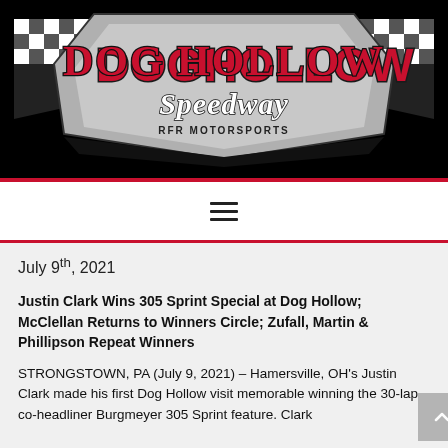[Figure (logo): Dog Hollow Speedway RFR Motorsports logo on black background with checkered flag design. 'DOG HOLLOW' in red block letters, 'Speedway' in white script, 'RFR MOTORSPORTS' below.]
≡
July 9th, 2021
Justin Clark Wins 305 Sprint Special at Dog Hollow; McClellan Returns to Winners Circle; Zufall, Martin & Phillipson Repeat Winners
STRONGSTOWN, PA (July 9, 2021) – Hamersville, OH's Justin Clark made his first Dog Hollow visit memorable winning the 30-lap co-headliner Burgmeyer 305 Sprint feature. Clark